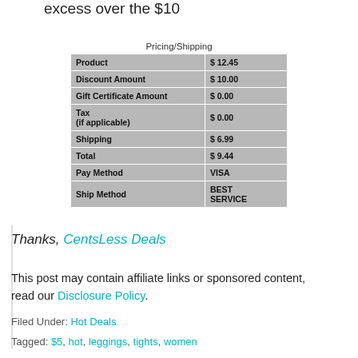excess over the $10
Pricing/Shipping
| Product | $ 12.45 |
| Discount Amount | $ 10.00 |
| Gift Certificate Amount | $ 0.00 |
| Tax (if applicable) | $ 0.00 |
| Shipping | $ 6.99 |
| Total | $ 9.44 |
| Pay Method | VISA |
| Ship Method | BEST SERVICE |
Thanks, CentsLess Deals
This post may contain affiliate links or sponsored content, read our Disclosure Policy.
Filed Under: Hot Deals
Tagged: $5, hot, leggings, tights, women